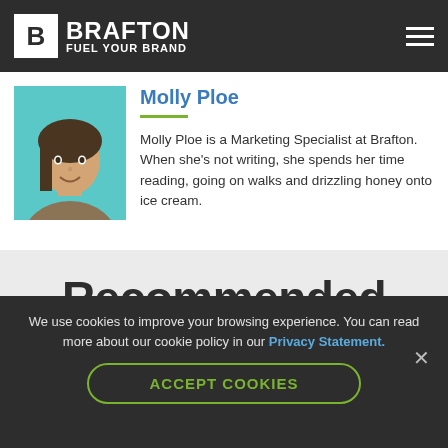BRAFTON FUEL YOUR BRAND
Molly Ploe
Molly Ploe is a Marketing Specialist at Brafton. When she's not writing, she spends her time reading, going on walks and drizzling honey onto ice cream.
Recommended Reading
We use cookies to improve your browsing experience. You can read more about our cookie policy in our Privacy Statement.
ACCEPT COOKIES